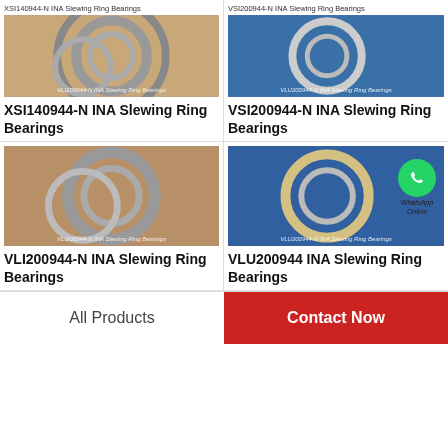XSI140944-N INA Slewing Ring Bearings
VSI200944-N INA Slewing Ring Bearings
[Figure (photo): XSI140944-N INA slewing ring bearing on red fabric background]
XSI140944-N INA Slewing Ring Bearings
[Figure (photo): VSI200944-N INA slewing ring bearing on blue background with WhatsApp Online overlay]
VSI200944-N INA Slewing Ring Bearings
[Figure (photo): VLI200944-N INA slewing ring bearing on red fabric background]
VLI200944-N INA Slewing Ring Bearings
[Figure (photo): VLU200944 INA slewing ring bearing on blue background]
VLU200944 INA Slewing Ring Bearings
All Products
Contact Now